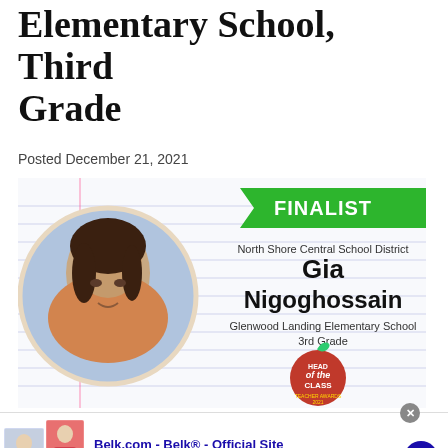Elementary School, Third Grade
Posted December 21, 2021
[Figure (photo): Finalist card for North Shore Central School District featuring a circular portrait photo of Gia Nigoghossain, a student at Glenwood Landing Elementary School, 3rd Grade, with 'FINALIST' banner in green, and a 'Head of the Class Teacher Awards 2021' apple badge. Background resembles lined notebook paper.]
Belk.com - Belk® - Official Site
Up To 75% Mens & Womens Shorts, Alts, Skirts & Swim
www.belk.com